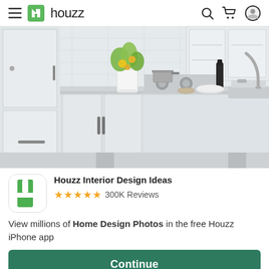≡  houzz   🔍  🛒  👤
[Figure (photo): Kitchen interior photo showing white cabinets, a kitchen island with flowers in a white vase, stove with pots, and a sink with chrome faucet on the right side.]
[Figure (logo): Houzz app icon - green square with white H shape]
Houzz Interior Design Ideas
★★★★★ 300K Reviews
View millions of Home Design Photos in the free Houzz iPhone app
Continue
Go to Mobile Site